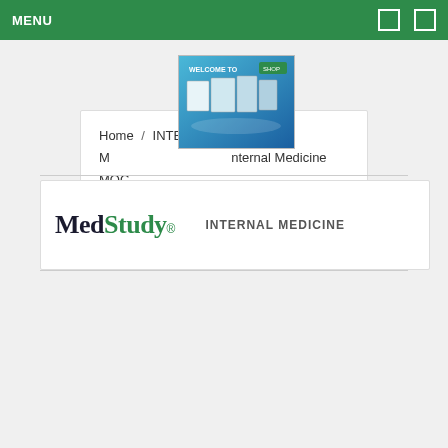MENU
Home / INTERNAL MEDICINE ... Internal Medicine MOC Exam Review VIDEO
[Figure (screenshot): Small popup image showing MedStudy product books/materials on a blue background with 'Welcome to' text visible]
[Figure (logo): MedStudy logo with 'Med' in dark and 'Study' in green, followed by 'INTERNAL MEDICINE' text in grey uppercase letters]